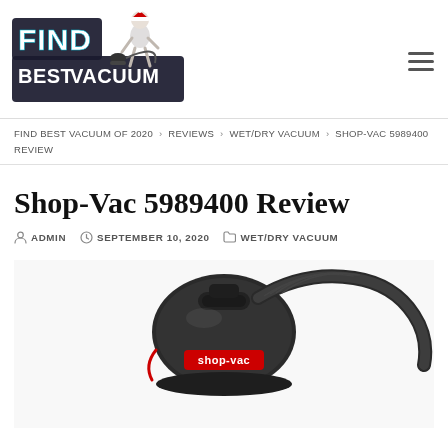[Figure (logo): Find Best Vacuum website logo with cartoon character holding vacuum cleaner and wearing Santa hat, with text FIND BEST VACUUM in bold stylized font]
FIND BEST VACUUM OF 2020 > REVIEWS > WET/DRY VACUUM > SHOP-VAC 5989400 REVIEW
Shop-Vac 5989400 Review
ADMIN  SEPTEMBER 10, 2020  WET/DRY VACUUM
[Figure (photo): Shop-Vac 5989400 wet/dry vacuum cleaner product photo showing black vacuum with red Shop-Vac label and attached hose]